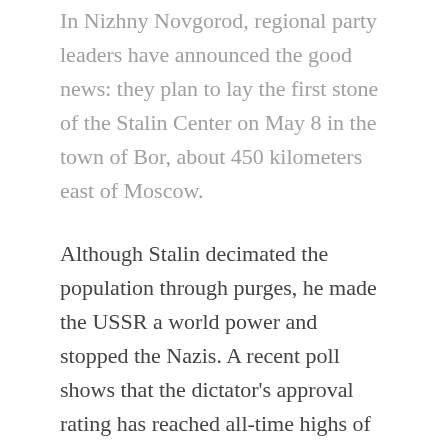In Nizhny Novgorod, regional party leaders have announced the good news: they plan to lay the first stone of the Stalin Center on May 8 in the town of Bor, about 450 kilometers east of Moscow.
Although Stalin decimated the population through purges, he made the USSR a world power and stopped the Nazis. A recent poll shows that the dictator's approval rating has reached all-time highs of 70%. Stalin is criticized from various spheres, but the vindication of Stalin is common. Vladimir Putin has once referred to him as a «complex figure.»